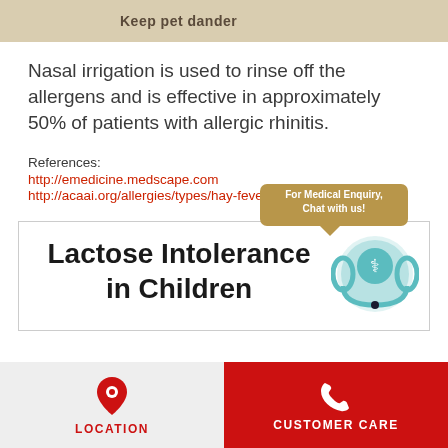Keep pet dander
Nasal irrigation is used to rinse off the allergens and is effective in approximately 50% of patients with allergic rhinitis.
References:
http://emedicine.medscape.com
http://acaai.org/allergies/types/hay-fever-rhinitis
Lactose Intolerance in Children
[Figure (illustration): Medical chat support icon with doctor wearing headset and caduceus symbol, gold speech bubble saying 'For Medical Enquiry, Chat with us!']
LOCATION   CUSTOMER CARE